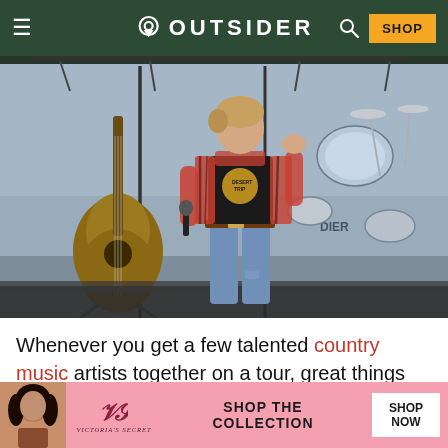OUTSIDER
[Figure (photo): Country music performer on stage wearing plaid shirt and black graphic tee, holding microphone, with guitar and drum kit visible in background]
Whenever you get a few talented country music artists together on a tour, great things can happen. Dierks Bentley let Elvie Shane join
[Figure (other): Victoria's Secret advertisement banner: SHOP THE COLLECTION - SHOP NOW]